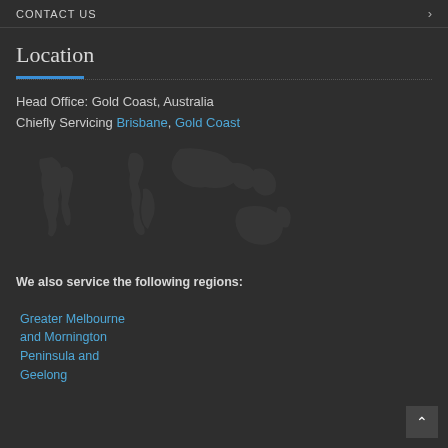CONTACT US
Location
Head Office: Gold Coast, Australia
Chiefly Servicing Brisbane, Gold Coast
[Figure (map): Faint world map outline shown as a background watermark in dark grey tones]
We also service the following regions:
Greater Melbourne and Mornington Peninsula and Geelong